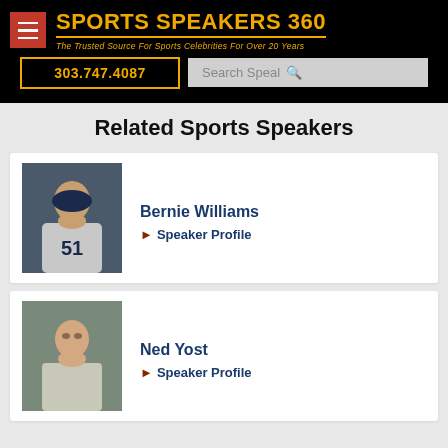SPORTS SPEAKERS 360 — The Trusted Source For Sports Celebrities For Over 20 Years
303.747.4087
Search Speal
Related Sports Speakers
[Figure (photo): Photo of Bernie Williams, baseball player wearing jersey number 51, looking upward]
Bernie Williams
▶ Speaker Profile
[Figure (photo): Photo of Ned Yost, older man in light-colored shirt]
Ned Yost
▶ Speaker Profile